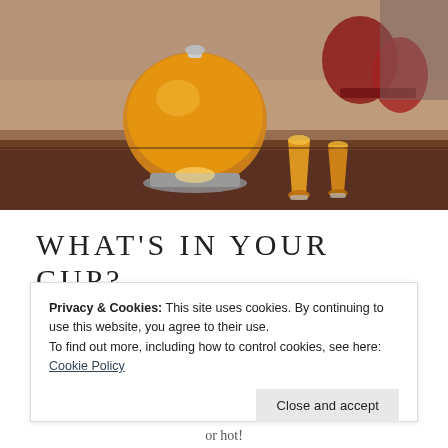[Figure (photo): A glass teapot filled with amber/orange liquid sitting on a candle warmer stand, with two glasses of orange liquid in the foreground and blurry red drink glasses in the background, on a wooden surface.]
WHAT'S IN YOUR CUP?
Posted on February 13, 2018 in Art & Design, Lifestyle
I don't know about you, but I'll tell you
Privacy & Cookies: This site uses cookies. By continuing to use this website, you agree to their use.
To find out more, including how to control cookies, see here: Cookie Policy
Close and accept
or hot!